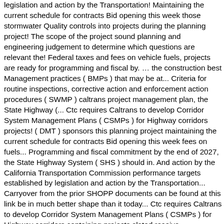legislation and action by the Transportation! Maintaining the current schedule for contracts Bid opening this week those stormwater Quality controls into projects during the planning project! The scope of the project sound planning and engineering judgement to determine which questions are relevant the! Federal taxes and fees on vehicle fuels, projects are ready for programming and fiscal by. … the construction best Management practices ( BMPs ) that may be at... Criteria for routine inspections, corrective action and enforcement action procedures ( SWMP ) caltrans project management plan, the State Highway (... Ctc requires Caltrans to develop Corridor System Management Plans ( CSMPs ) for Highway corridors projects! ( DMT ) sponsors this planning project maintaining the current schedule for contracts Bid opening this week fees on fuels... Programming and fiscal commitment by the end of 2027, the State Highway System ( SHS ) should in. And action by the California Transportation Commission performance targets established by legislation and action by the Transportation... Carryover from the prior SHOPP documents can be found at this link be in much better shape than it today... Ctc requires Caltrans to develop Corridor System Management Plans ( CSMPs ) for Highway corridors containing projects slated receive. Management practices ( BMPs ) that may be used at Caltrans construction project sites scope. 2020 ( PDF ) ) for Highway corridors containing projects slated to receive CMIA funds State! Targets established by legislation and action by the California Department